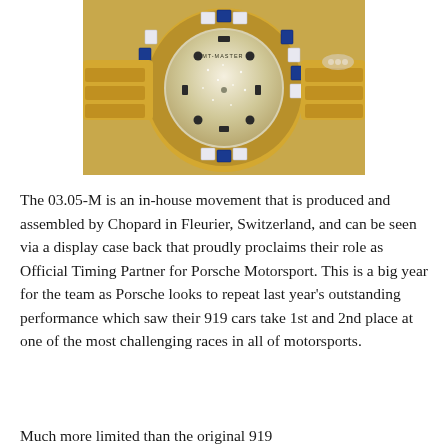[Figure (photo): Close-up photo of a luxury watch with gold case, diamond and blue sapphire bezel, and a heavily jeweled dial. The watch appears to be a GMT-Master II style timepiece with a sparkling pave diamond dial and gold bracelet.]
The 03.05-M is an in-house movement that is produced and assembled by Chopard in Fleurier, Switzerland, and can be seen via a display case back that proudly proclaims their role as Official Timing Partner for Porsche Motorsport. This is a big year for the team as Porsche looks to repeat last year’s outstanding performance which saw their 919 cars take 1st and 2nd place at one of the most challenging races in all of motorsports.
Much more limited than the original 919